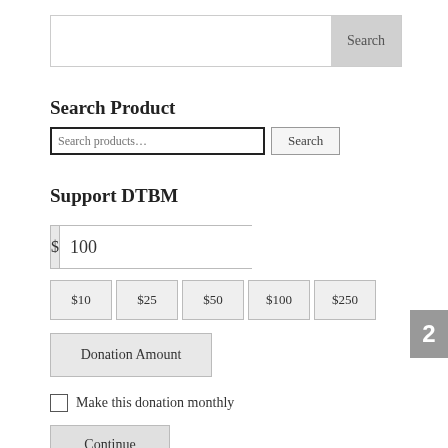[Figure (screenshot): Top search bar with text input and Search button]
Search Product
[Figure (screenshot): Search products input field with Search button]
Support DTBM
[Figure (screenshot): Dollar amount input showing $ and 100]
[Figure (screenshot): Quick donation amount buttons: $10, $25, $50, $100, $250]
[Figure (screenshot): Donation Amount button]
Make this donation monthly
[Figure (screenshot): Continue button]
2